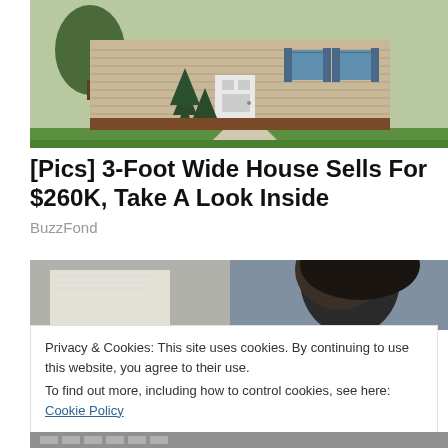[Figure (photo): Exterior photo of a suburban house with beige siding, white front door, evergreen trees, and green lawn]
[Pics] 3-Foot Wide House Sells For $260K, Take A Look Inside
BuzzFond
[Figure (photo): Close-up photo of a person with dark hair, partially blurred]
Privacy & Cookies: This site uses cookies. By continuing to use this website, you agree to their use.
To find out more, including how to control cookies, see here: Cookie Policy
Close and accept
[Figure (photo): Partially visible photo at bottom of page, appears to show a calculator or keyboard]